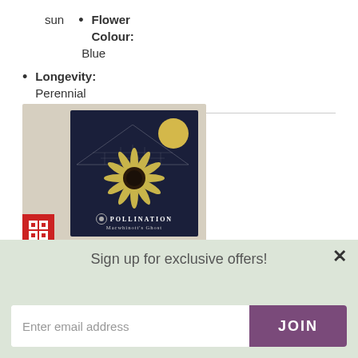Flower Colour: Blue
Longevity: Perennial
[Figure (photo): Seed packet for 'Pollination - Macwhinott's Ghost' featuring a sunflower on a dark blue background with a greenhouse and moon illustration, displayed on a beige background. Red logo in bottom left corner.]
Sign up for exclusive offers!
Enter email address
JOIN